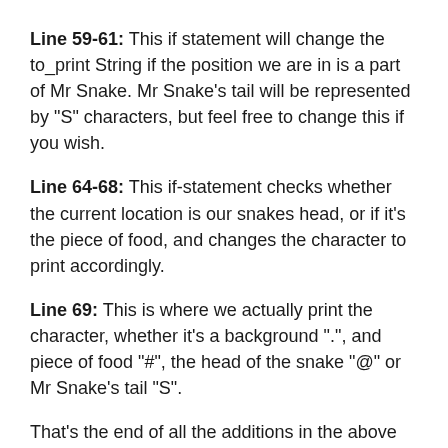Line 59-61: This if statement will change the to_print String if the position we are in is a part of Mr Snake. Mr Snake's tail will be represented by "S" characters, but feel free to change this if you wish.
Line 64-68: This if-statement checks whether the current location is our snakes head, or if it's the piece of food, and changes the character to print accordingly.
Line 69: This is where we actually print the character, whether it's a background ".", and piece of food "#", the head of the snake "@" or Mr Snake's tail "S".
That's the end of all the additions in the above code! Now you can compile and run your code.
You should notice that you can now move around and eat the piece of food, but the food doesn't move (you can actually eat it again and again). You'll also notice that...